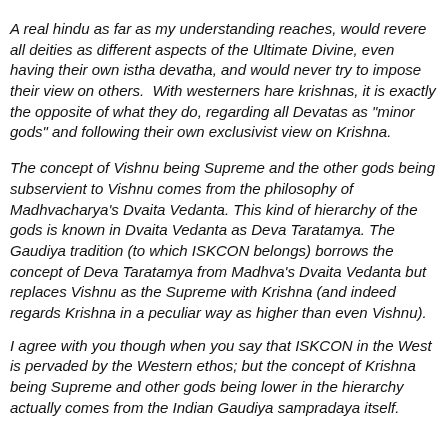A real hindu as far as my understanding reaches, would revere all deities as different aspects of the Ultimate Divine, even having their own istha devatha, and would never try to impose their view on others.  With westerners hare krishnas, it is exactly the opposite of what they do, regarding all Devatas as "minor gods" and following their own exclusivist view on Krishna. The concept of Vishnu being Supreme and the other gods being subservient to Vishnu comes from the philosophy of Madhvacharya's Dvaita Vedanta. This kind of hierarchy of the gods is known in Dvaita Vedanta as Deva Taratamya. The Gaudiya tradition (to which ISKCON belongs) borrows the concept of Deva Taratamya from Madhva's Dvaita Vedanta but replaces Vishnu as the Supreme with Krishna (and indeed regards Krishna in a peculiar way as higher than even Vishnu). I agree with you though when you say that ISKCON in the West is pervaded by the Western ethos; but the concept of Krishna being Supreme and other gods being lower in the hierarchy actually comes from the Indian Gaudiya sampradaya itself.